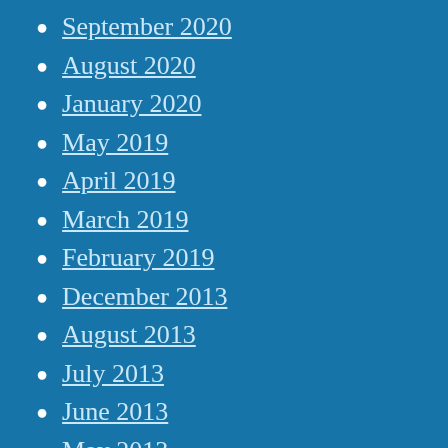September 2020
August 2020
January 2020
May 2019
April 2019
March 2019
February 2019
December 2013
August 2013
July 2013
June 2013
May 2013
April 2013
March 2013
February 2013
January 2013
December 2012